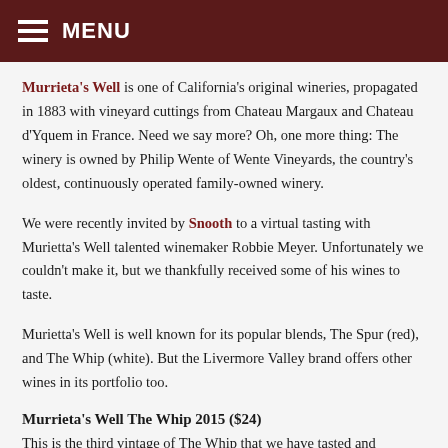MENU
Murrieta's Well is one of California's original wineries, propagated in 1883 with vineyard cuttings from Chateau Margaux and Chateau d'Yquem in France. Need we say more? Oh, one more thing: The winery is owned by Philip Wente of Wente Vineyards, the country's oldest, continuously operated family-owned winery.
We were recently invited by Snooth to a virtual tasting with Murietta's Well talented winemaker Robbie Meyer. Unfortunately we couldn't make it, but we thankfully received some of his wines to taste.
Murietta's Well is well known for its popular blends, The Spur (red), and The Whip (white). But the Livermore Valley brand offers other wines in its portfolio too.
Murrieta's Well The Whip 2015 ($24)
This is the third vintage of The Whip that we have tasted and recommended to friends who like crisp whites with a